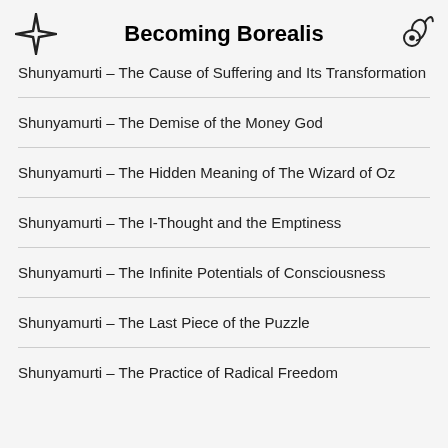Becoming Borealis
Shunyamurti – The Cause of Suffering and Its Transformation
Shunyamurti – The Demise of the Money God
Shunyamurti – The Hidden Meaning of The Wizard of Oz
Shunyamurti – The I-Thought and the Emptiness
Shunyamurti – The Infinite Potentials of Consciousness
Shunyamurti – The Last Piece of the Puzzle
Shunyamurti – The Practice of Radical Freedom